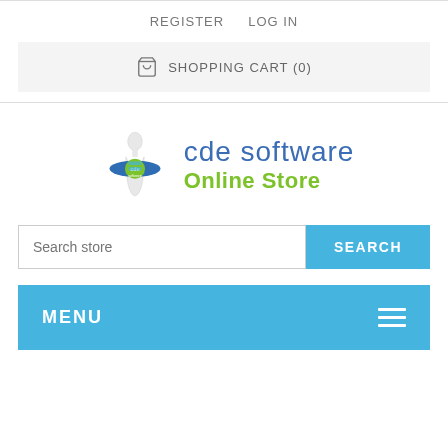REGISTER   LOG IN
SHOPPING CART (0)
[Figure (logo): CDE Software Online Store logo with bowling pin graphic]
Search store
MENU